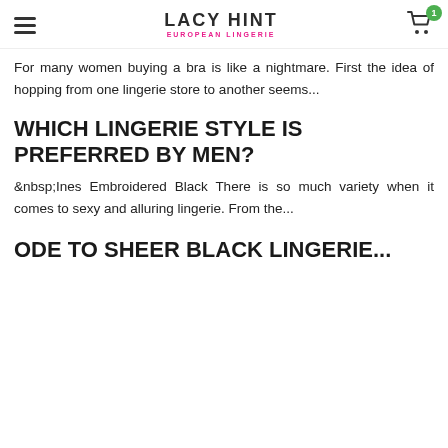LACY HINT EUROPEAN LINGERIE
For many women buying a bra is like a nightmare. First the idea of hopping from one lingerie store to another seems...
WHICH LINGERIE STYLE IS PREFERRED BY MEN?
&nbsp;Ines Embroidered Black There is so much variety when it comes to sexy and alluring lingerie. From the...
ODE TO SHEER BLACK LINGERIE...